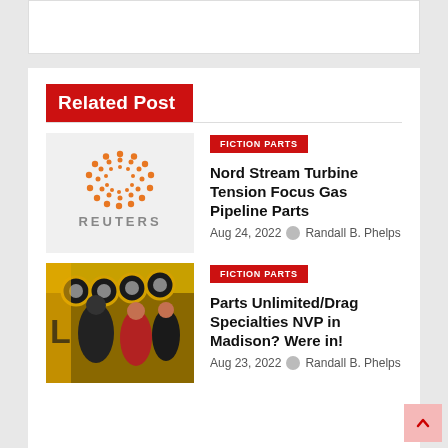Related Post
[Figure (logo): Reuters logo: orange dotted circle with REUTERS text below in grey]
FICTION PARTS
Nord Stream Turbine Tension Focus Gas Pipeline Parts
Aug 24, 2022  Randall B. Phelps
[Figure (photo): Photo of people at a trade show with yellow tires displayed in the background]
FICTION PARTS
Parts Unlimited/Drag Specialties NVP in Madison? Were in!
Aug 23, 2022  Randall B. Phelps